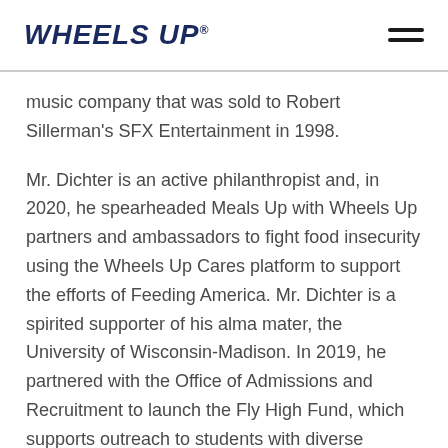WHEELS UP
music company that was sold to Robert Sillerman's SFX Entertainment in 1998.
Mr. Dichter is an active philanthropist and, in 2020, he spearheaded Meals Up with Wheels Up partners and ambassadors to fight food insecurity using the Wheels Up Cares platform to support the efforts of Feeding America. Mr. Dichter is a spirited supporter of his alma mater, the University of Wisconsin-Madison. In 2019, he partnered with the Office of Admissions and Recruitment to launch the Fly High Fund, which supports outreach to students with diverse backgrounds to encourage